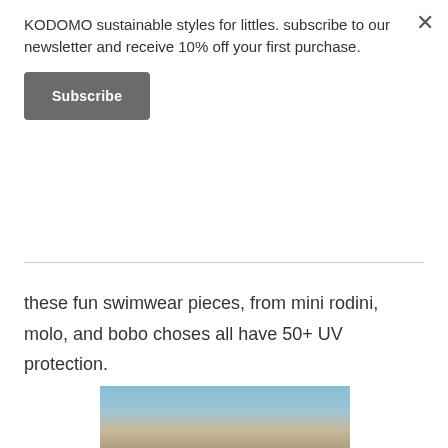one's to the wonderful world of arts and crafts.
these fun swimwear pieces, from mini rodini, molo, and bobo choses all have 50+ UV protection.
[Figure (photo): Photo of a child outdoors with building in background, partially visible at bottom of page]
KODOMO sustainable styles for littles. subscribe to our newsletter and receive 10% off your first purchase.
Subscribe